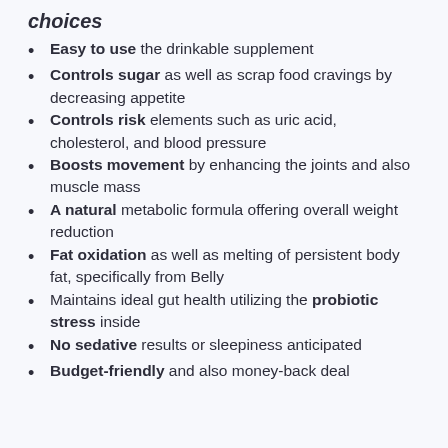choices
Easy to use the drinkable supplement
Controls sugar as well as scrap food cravings by decreasing appetite
Controls risk elements such as uric acid, cholesterol, and blood pressure
Boosts movement by enhancing the joints and also muscle mass
A natural metabolic formula offering overall weight reduction
Fat oxidation as well as melting of persistent body fat, specifically from Belly
Maintains ideal gut health utilizing the probiotic stress inside
No sedative results or sleepiness anticipated
Budget-friendly and also money-back deal